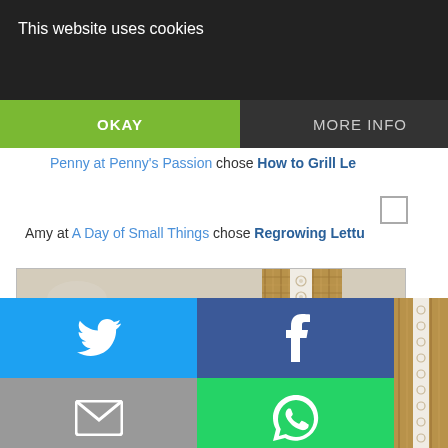This website uses cookies
OKAY
MORE INFO
and What to Do w...
So fancy yet, oh so ea...
Penny at Penny's Passion chose How to Grill Le...
Amy at A Day of Small Things chose Regrowing Lettu...
[Figure (photo): Burlap and lace ribbon on a light surface]
[Figure (infographic): Social share buttons grid: Twitter (blue), Facebook (dark blue), Email (gray), WhatsApp (green), SMS (blue), other sharing icon (blue)]